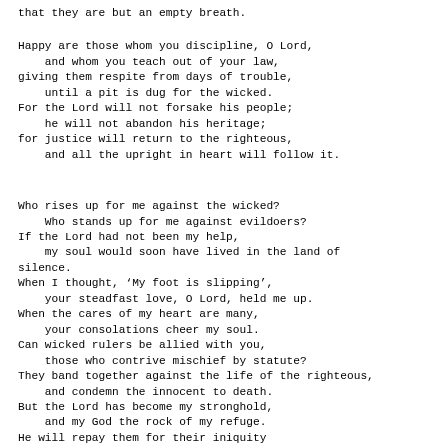that they are but an empty breath.

Happy are those whom you discipline, O Lord,
    and whom you teach out of your law,
giving them respite from days of trouble,
    until a pit is dug for the wicked.
For the Lord will not forsake his people;
    he will not abandon his heritage;
for justice will return to the righteous,
    and all the upright in heart will follow it.


Who rises up for me against the wicked?
    Who stands up for me against evildoers?
If the Lord had not been my help,
    my soul would soon have lived in the land of silence.
When I thought, ‘My foot is slipping’,
    your steadfast love, O Lord, held me up.
When the cares of my heart are many,
    your consolations cheer my soul.
Can wicked rulers be allied with you,
    those who contrive mischief by statute?
They band together against the life of the righteous,
    and condemn the innocent to death.
But the Lord has become my stronghold,
    and my God the rock of my refuge.
He will repay them for their iniquity
    and wipe them out for their wickedness;
    the Lord our God will silence them.